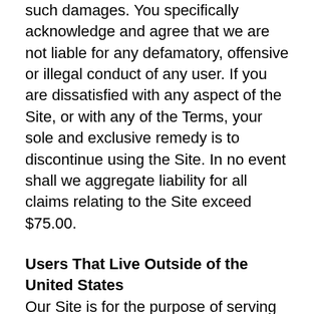such damages. You specifically acknowledge and agree that we are not liable for any defamatory, offensive or illegal conduct of any user. If you are dissatisfied with any aspect of the Site, or with any of the Terms, your sole and exclusive remedy is to discontinue using the Site. In no event shall we aggregate liability for all claims relating to the Site exceed $75.00.
Users That Live Outside of the United States
Our Site is for the purpose of serving those within the United States. The laws governing the collection and use of information within the United States may be different than other countries. If you use this Site you are agreeing to be governed by the laws of the United States and you are consenting to the transfer of your information to the United States.